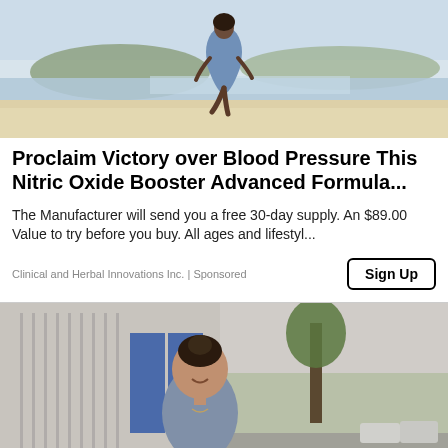[Figure (photo): Woman in blue dress at a beach, jumping or posing on one leg, with hills and water in background]
Proclaim Victory over Blood Pressure This Nitric Oxide Booster Advanced Formula...
The Manufacturer will send you a free 30-day supply. An $89.00 Value to try before you buy. All ages and lifestyl...
Clinical and Herbal Innovations Inc. | Sponsored
[Figure (photo): Young woman smiling outdoors on a city street with trees and buildings in background, wearing blue-grey top]